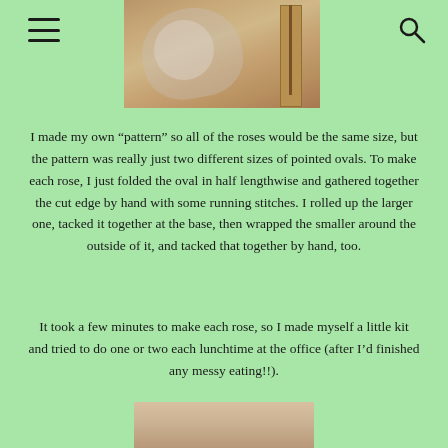[Figure (photo): Close-up photo of a fabric rose with a ruler next to it on a wooden surface, partially cropped at top]
I made my own “pattern” so all of the roses would be the same size, but the pattern was really just two different sizes of pointed ovals. To make each rose, I just folded the oval in half lengthwise and gathered together the cut edge by hand with some running stitches. I rolled up the larger one, tacked it together at the base, then wrapped the smaller around the outside of it, and tacked that together by hand, too.
It took a few minutes to make each rose, so I made myself a little kit and tried to do one or two each lunchtime at the office (after I’d finished any messy eating!!).
[Figure (photo): Partial photo of a fabric rose on a light background, cropped at bottom]